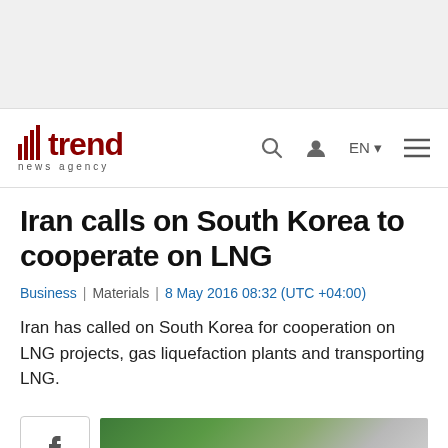[Figure (other): Top banner advertisement area with light gray background]
trend news agency — navigation bar with search, user, EN language, and menu icons
Iran calls on South Korea to cooperate on LNG
Business | Materials | 8 May 2016 08:32 (UTC +04:00)
Iran has called on South Korea for cooperation on LNG projects, gas liquefaction plants and transporting LNG.
[Figure (photo): Partial view of article image showing green and gray tones, with Facebook share button to the left]